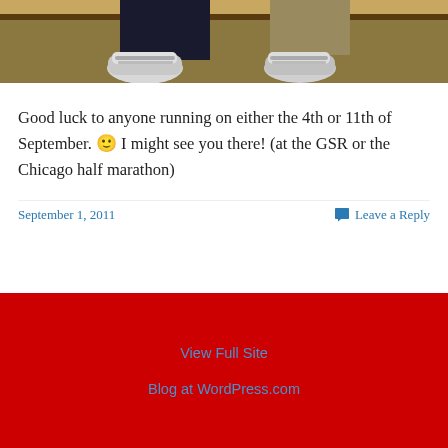[Figure (photo): Cropped photo showing two people's legs/feet wearing running sneakers on a carpeted floor with a yellow/brown wall in background]
Good luck to anyone running on either the 4th or 11th of September. 🙂 I might see you there! (at the GSR or the Chicago half marathon)
September 1, 2011    Leave a Reply
View Full Site
Blog at WordPress.com